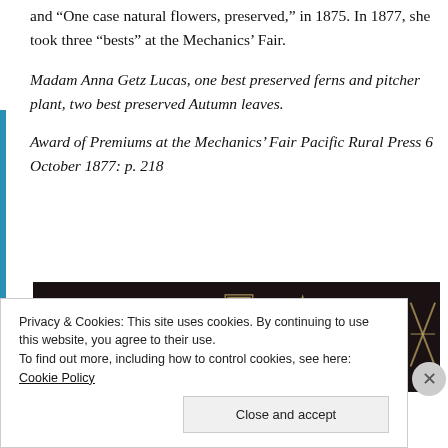and “One case natural flowers, preserved,” in 1875. In 1877, she took three “bests” at the Mechanics’ Fair.
Madam Anna Getz Lucas, one best preserved ferns and pitcher plant, two best preserved Autumn leaves.
Award of Premiums at the Mechanics’ Fair Pacific Rural Press 6 October 1877: p. 218
[Figure (photo): Dark background photograph showing decorative wirework or embroidery designs including symbols like a horseshoe, scrolls, crosses, star, harp, and other ornamental shapes outlined in light-colored thread or wire on dark fabric.]
Privacy & Cookies: This site uses cookies. By continuing to use this website, you agree to their use.
To find out more, including how to control cookies, see here: Cookie Policy
Close and accept